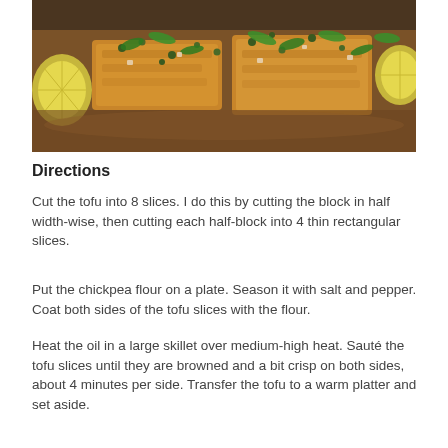[Figure (photo): Close-up food photo of golden-brown breaded tofu slices topped with capers, chopped fresh herbs (parsley), and lemon slices in a savory sauce.]
Directions
Cut the tofu into 8 slices. I do this by cutting the block in half width-wise, then cutting each half-block into 4 thin rectangular slices.
Put the chickpea flour on a plate. Season it with salt and pepper. Coat both sides of the tofu slices with the flour.
Heat the oil in a large skillet over medium-high heat. Sauté the tofu slices until they are browned and a bit crisp on both sides, about 4 minutes per side. Transfer the tofu to a warm platter and set aside.